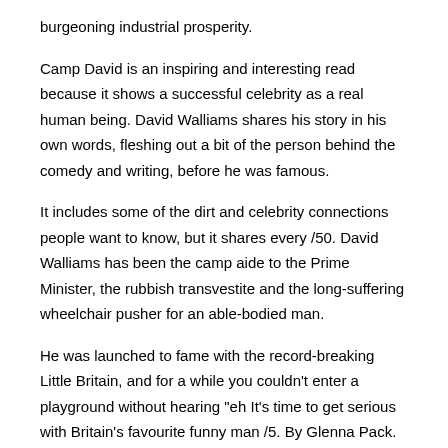burgeoning industrial prosperity.
Camp David is an inspiring and interesting read because it shows a successful celebrity as a real human being. David Walliams shares his story in his own words, fleshing out a bit of the person behind the comedy and writing, before he was famous.
It includes some of the dirt and celebrity connections people want to know, but it shares every /50. David Walliams has been the camp aide to the Prime Minister, the rubbish transvestite and the long-suffering wheelchair pusher for an able-bodied man.
He was launched to fame with the record-breaking Little Britain, and for a while you couldn't enter a playground without hearing "eh It's time to get serious with Britain's favourite funny man /5. By Glenna Pack. In Cookin' in a Coal Camp, author Glenna Pack brings us a charming, old-fashioned cookbook that has been a favorite for Pack tested these recipes on her family as they were moved from coal town to coal town throughout West Virginia.
The book is all that it promises, and more. It is a feast for the eyes as well as the taste buds.